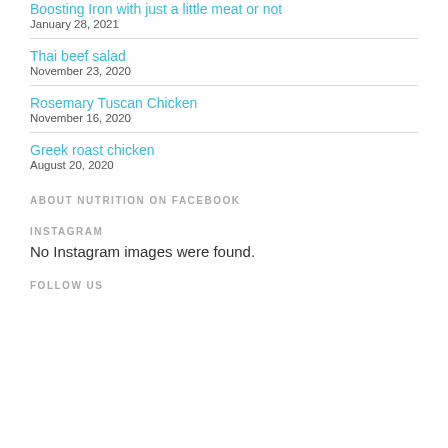Boosting Iron with just a little meat or not
January 28, 2021
Thai beef salad
November 23, 2020
Rosemary Tuscan Chicken
November 16, 2020
Greek roast chicken
August 20, 2020
ABOUT NUTRITION ON FACEBOOK
INSTAGRAM
No Instagram images were found.
FOLLOW US